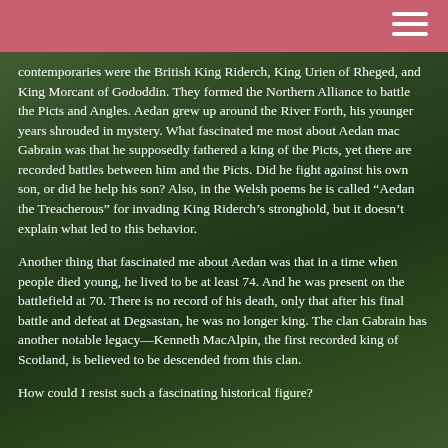contemporaries were the British King Riderch, King Urien of Rheged, and King Morcant of Gododdin. They formed the Northern Alliance to battle the Picts and Angles. Aedan grew up around the River Forth, his younger years shrouded in mystery. What fascinated me most about Aedan mac Gabrain was that he supposedly fathered a king of the Picts, yet there are recorded battles between him and the Picts. Did he fight against his own son, or did he help his son? Also, in the Welsh poems he is called “Aedan the Treacherous” for invading King Riderch’s stronghold, but it doesn’t explain what led to this behavior.
Another thing that fascinated me about Aedan was that in a time when people died young, he lived to be at least 74. And he was present on the battlefield at 70. There is no record of his death, only that after his final battle and defeat at Degsastan, he was no longer king. The clan Gabrain has another notable legacy—Kenneth MacAlpin, the first recorded king of Scotland, is believed to be descended from this clan.
How could I resist such a fascinating historical figure?